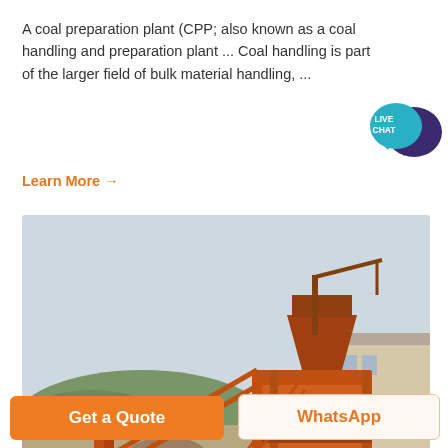A coal preparation plant (CPP; also known as a coal handling and preparation plant ... Coal handling is part of the larger field of bulk material handling, ...
Learn More →
[Figure (photo): Industrial coal preparation plant with orange-colored heavy machinery, conveyor belts, and a large warehouse building in background. Workers visible. Hilly terrain behind.]
Get a Quote
WhatsApp